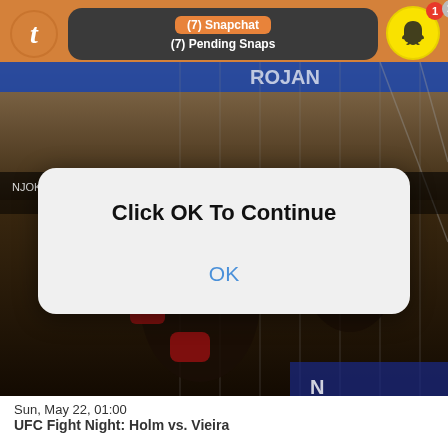[Figure (screenshot): Mobile phone screenshot showing a UFC video game in the background with a Tumblr app bar at top displaying a Snapchat notification '(7) Snapchat / (7) Pending Snaps', a Snapchat ghost icon with badge number 1, a dialog box reading 'Click OK To Continue' with an OK button, and bottom text 'Sun, May 22, 01:00 / UFC Fight Night: Holm vs. Vieira']